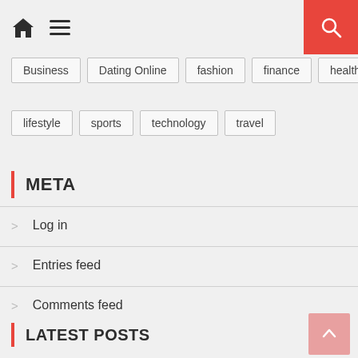Home icon, Menu icon, Search button
Business
Dating Online
fashion
finance
health
lifestyle
sports
technology
travel
META
Log in
Entries feed
Comments feed
WordPress.org
LATEST POSTS